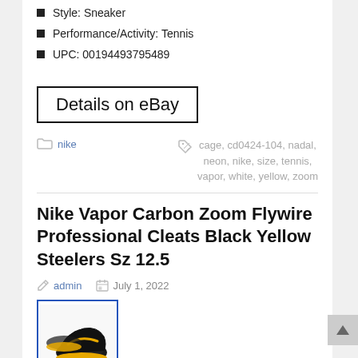Style: Sneaker
Performance/Activity: Tennis
UPC: 00194493795489
Details on eBay
nike
cage, cd0424-104, nadal, neon, nike, size, tennis, vapor, white, yellow, zoom
Nike Vapor Carbon Zoom Flywire Professional Cleats Black Yellow Steelers Sz 12.5
admin  July 1, 2022
[Figure (photo): Black and yellow Nike Vapor Carbon Zoom Flywire Professional Cleats football/soccer cleats, shown from a diagonal angle, with yellow sole and black upper.]